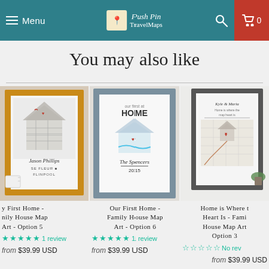Menu | Push Pin TravelMaps | Search | Cart 0
You may also like
[Figure (photo): Framed art print in yellow/gold frame showing house map art with name Jason Phillips]
y First Home - nily House Map Art - Option 5
★★★★★ 1 review
from $39.99 USD
[Figure (photo): Framed art print in gray-blue frame showing Our First Home - Family House Map Art]
Our First Home - Family House Map Art - Option 6
★★★★★ 1 review
from $39.99 USD
[Figure (photo): Framed art print in dark gray frame showing Home is Where the Heart Is family house map art]
Home is Where the Heart Is - Fami House Map Art Option 3
☆☆☆☆☆ No rev
from $39.99 USD